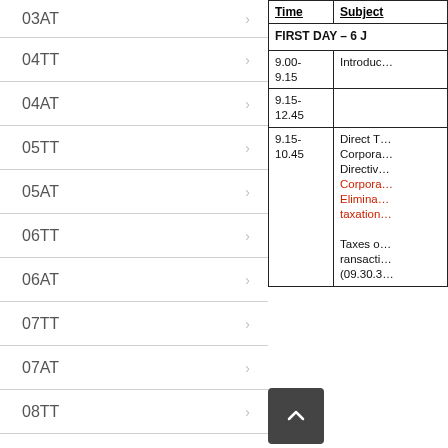03AT
04TT
04AT
05TT
05AT
06TT
06AT
07TT
07AT
08TT
08AT
09TT
| Time | Subject |
| --- | --- |
| FIRST DAY – 6 J… |  |
| 9.00-
9.15 | Introduc… |
| 9.15-
12.45 |  |
| 9.15-
10.45 | Direct T…
Corpora…
Directiv…
Corpora…
Elimina…
taxation…
Taxes o…
ransacti…
(09.30.3… |